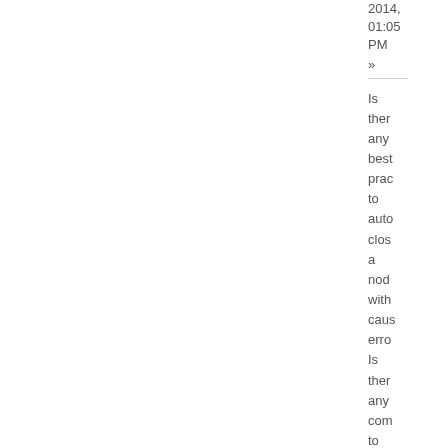2014, 01:05 PM »
Is there any best practice to auto close a node with causing errors Is there any community to store